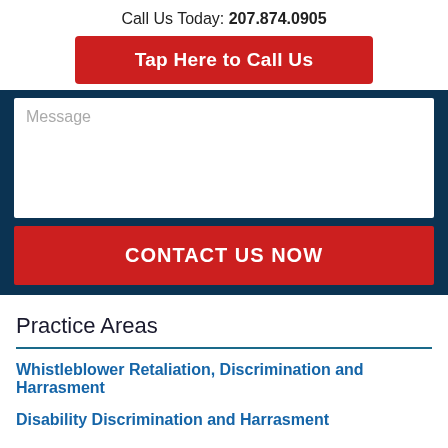Call Us Today: 207.874.0905
Tap Here to Call Us
Message
CONTACT US NOW
Practice Areas
Whistleblower Retaliation, Discrimination and Harrasment
Disability Discrimination and Harrasment